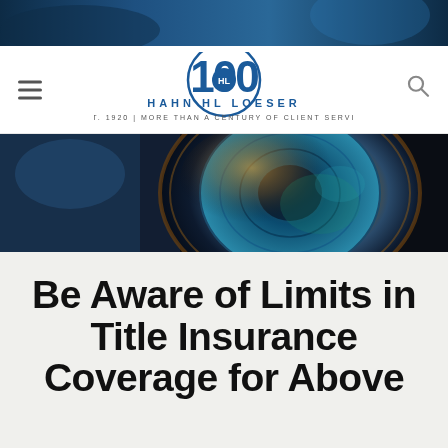[Figure (photo): Dark blue photo banner at the top of the page]
Hahn Loeser — EST. 1920 | MORE THAN A CENTURY OF CLIENT SERVICE
[Figure (photo): Close-up photo of a camera lens with golden and teal reflections]
Be Aware of Limits in Title Insurance Coverage for Above